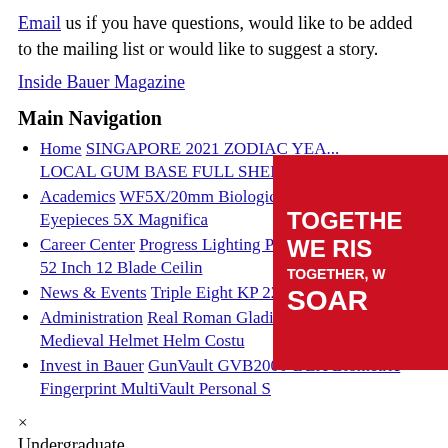Email us if you have questions, would like to be added to the mailing list or would like to suggest a story.
Inside Bauer Magazine
Main Navigation
Home SINGAPORE 2021 ZODIAC YEAR LOCAL GUM BASE FULL SHEET 1
Academics WF5X/20mm Biological Mic Eyepieces 5X Magnifica
Career Center Progress Lighting P250065 52 Inch 12 Blade Ceilin
News & Events Triple Eight KP 22 Knee
Administration Real Roman Gladiator Maximus Historic Medieval Helmet Helm Costu
Invest in Bauer GunVault GVB2000-DLX Biometric Fingerprint MultiVault Personal S
[Figure (other): Red advertisement banner with white text reading TOGETHER WE RISE TOGETHER, W SOAR]
×
Undergraduate
Prospective Students
Bachelor of Business Administration